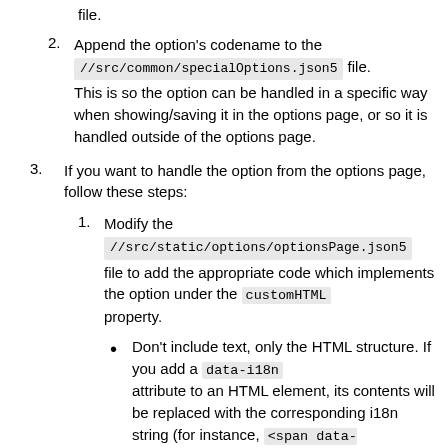file.
Append the option's codename to the //src/common/specialOptions.json5 file. This is so the option can be handled in a specific way when showing/saving it in the options page, or so it is handled outside of the options page.
If you want to handle the option from the options page, follow these steps:
Modify the //src/static/options/optionsPage.json5 file to add the appropriate code which implements the option under the customHTML property.
Don't include text, only the HTML structure. If you add a data-i18n attribute to an HTML element, its contents will be replaced with the corresponding i18n string (for instance, <span data-i18n="test"></span> will be rendered